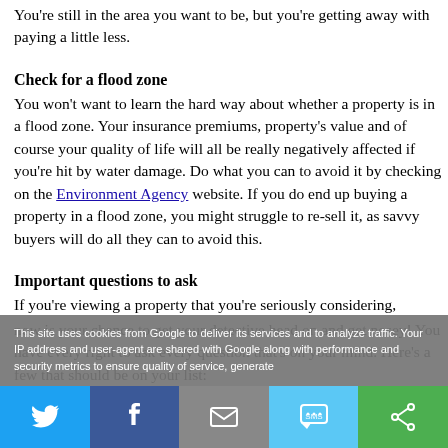You're still in the area you want to be, but you're getting away with paying a little less.
Check for a flood zone
You won't want to learn the hard way about whether a property is in a flood zone. Your insurance premiums, property's value and of course your quality of life will all be really negatively affected if you're hit by water damage. Do what you can to avoid it by checking on the Environment Agency website. If you do end up buying a property in a flood zone, you might struggle to re-sell it, as savvy buyers will do all they can to avoid this.
Important questions to ask
If you're viewing a property that you're seriously considering, now is your chance to get your detective head on and get nosey! You have every right to ask every question that's on your mind. Here's a few that should be on your list:
This site uses cookies from Google to deliver its services and to analyze traffic. Your IP address and user-agent are shared with Google along with performance and security metrics to ensure quality of service, generate